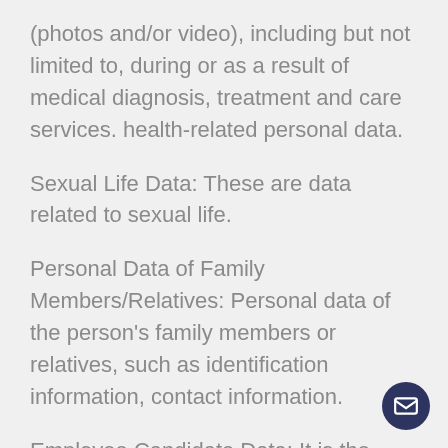(photos and/or video), including but not limited to, during or as a result of medical diagnosis, treatment and care services. health-related personal data.
Sexual Life Data: These are data related to sexual life.
Personal Data of Family Members/Relatives: Personal data of the person's family members or relatives, such as identification information, contact information.
Employee Candidate Data: It is the personal data of the person who has applied to be a payroll employee in the practice or is considered as an